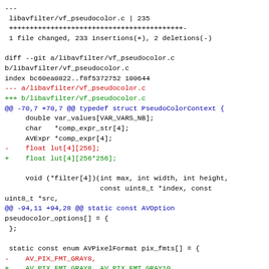---
 libavfilter/vf_pseudocolor.c | 235
 ++++++++++++++++++++++++++++++++++++++++++-
 1 file changed, 233 insertions(+), 2 deletions(-)

diff --git a/libavfilter/vf_pseudocolor.c
b/libavfilter/vf_pseudocolor.c
index bc60ea0822..f8f5372752 100644
--- a/libavfilter/vf_pseudocolor.c
+++ b/libavfilter/vf_pseudocolor.c
@@ -70,7 +70,7 @@ typedef struct PseudoColorContext {
     double var_values[VAR_VARS_NB];
     char   *comp_expr_str[4];
     AVExpr *comp_expr[4];
-    float lut[4][256];
+    float lut[4][256*256];

     void (*filter[4])(int max, int width, int height,
                       const uint8_t *index, const
uint8_t *src,
@@ -94,11 +94,28 @@ static const AVOption
pseudocolor_options[] = {
 };

 static const enum AVPixelFormat pix_fmts[] = {
-    AV_PIX_FMT_GRAY8,
+    AV_PIX_FMT_GRAY8, AV_PIX_FMT_GRAY10,
AV_PIX_FMT_GRAY16,
     AV_PIX_FMT_YUV420P, AV_PIX_FMT_YUVA420P,